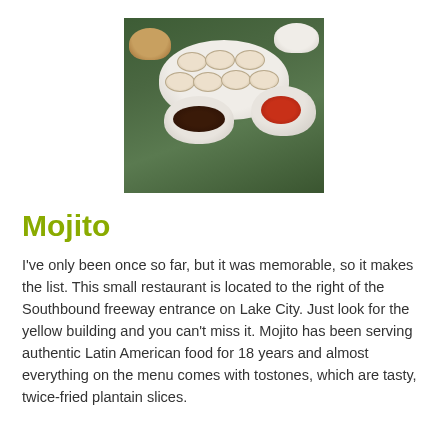[Figure (photo): Photo of dumplings in a white bowl with dipping sauce bowls on a dark green table surface]
Mojito
I've only been once so far, but it was memorable, so it makes the list. This small restaurant is located to the right of the Southbound freeway entrance on Lake City. Just look for the yellow building and you can't miss it. Mojito has been serving authentic Latin American food for 18 years and almost everything on the menu comes with tostones, which are tasty, twice-fried plantain slices.